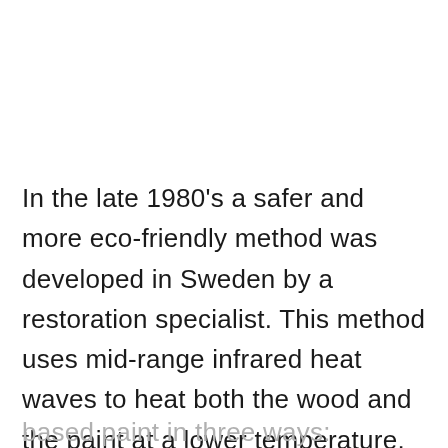In the late 1980's a safer and more eco-friendly method was developed in Sweden by a restoration specialist.  This method uses mid-range infrared heat waves to heat both the wood and the paint at a lower temperature.  Therefore, it greatly reduces the hazards of removing lead-
based paint in three ways: